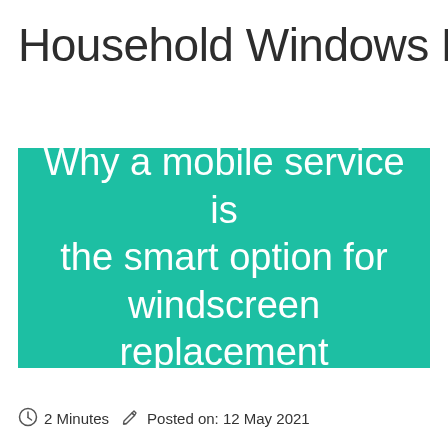Household Windows For
Why a mobile service is the smart option for windscreen replacement
2 Minutes  Posted on: 12 May 2021